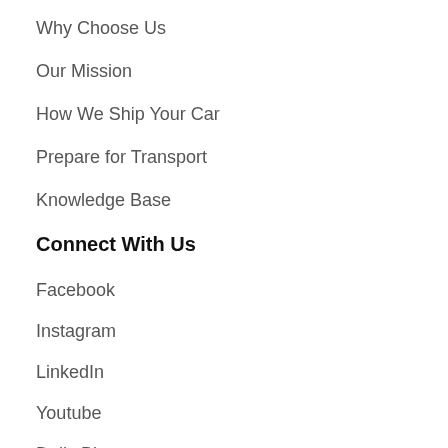Why Choose Us
Our Mission
How We Ship Your Car
Prepare for Transport
Knowledge Base
Connect With Us
Facebook
Instagram
LinkedIn
Youtube
Daily Blog
Press